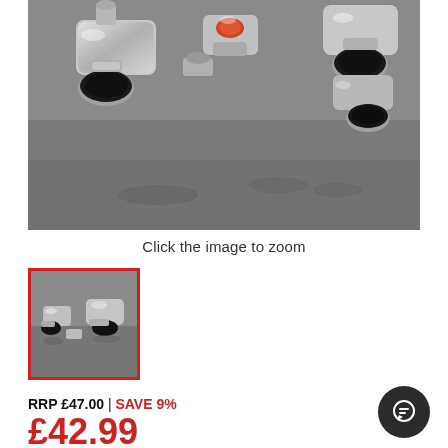[Figure (photo): Close-up product photo of chrome radiator valves/fittings on a grey surface with reflections]
Click the image to zoom
[Figure (photo): Small thumbnail image of chrome radiator valves, selected with red border]
RRP £47.00 | SAVE 9%
£42.99